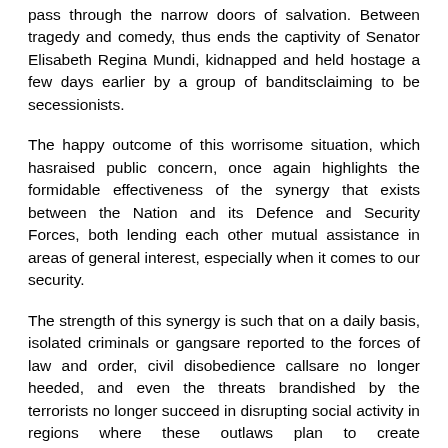pass through the narrow doors of salvation. Between tragedy and comedy, thus ends the captivity of Senator Elisabeth Regina Mundi, kidnapped and held hostage a few days earlier by a group of banditsclaiming to be secessionists.
The happy outcome of this worrisome situation, which hasraised public concern, once again highlights the formidable effectiveness of the synergy that exists between the Nation and its Defence and Security Forces, both lending each other mutual assistance in areas of general interest, especially when it comes to our security.
The strength of this synergy is such that on a daily basis, isolated criminals or gangsare reported to the forces of law and order, civil disobedience callsare no longer heeded, and even the threats brandished by the terrorists no longer succeed in disrupting social activity in regions where these outlaws plan to create anatmosphere of insecurity.
The only ones not to notice this renewed patriotism are the unrepentant agents of digital mystification, those who must be imagining themselves at the helm of a proto-State created from scratch from a smartphone with a handful of